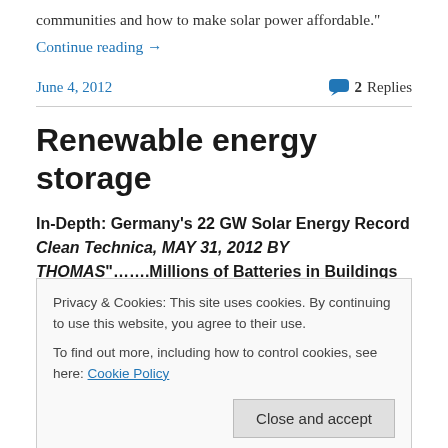communities and how to make solar power affordable."
Continue reading →
June 4, 2012
2 Replies
Renewable energy storage
In-Depth: Germany's 22 GW Solar Energy Record Clean Technica, MAY 31, 2012 BY THOMAS"…….Millions of Batteries in Buildings —
Privacy & Cookies: This site uses cookies. By continuing to use this website, you agree to their use.
To find out more, including how to control cookies, see here: Cookie Policy
Close and accept
Today, there are still about 6.4 million oil tanks in homes